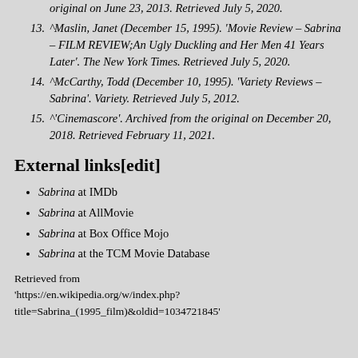original on June 23, 2013. Retrieved July 5, 2020.
13. ^Maslin, Janet (December 15, 1995). 'Movie Review – Sabrina – FILM REVIEW;An Ugly Duckling and Her Men 41 Years Later'. The New York Times. Retrieved July 5, 2020.
14. ^McCarthy, Todd (December 10, 1995). 'Variety Reviews – Sabrina'. Variety. Retrieved July 5, 2012.
15. ^'Cinemascore'. Archived from the original on December 20, 2018. Retrieved February 11, 2021.
External links[edit]
Sabrina at IMDb
Sabrina at AllMovie
Sabrina at Box Office Mojo
Sabrina at the TCM Movie Database
Retrieved from 'https://en.wikipedia.org/w/index.php?title=Sabrina_(1995_film)&oldid=1034721845'